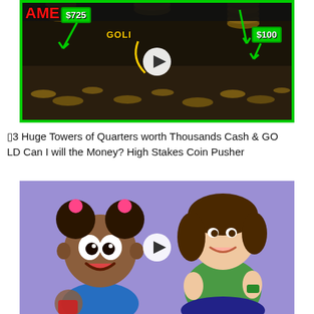[Figure (screenshot): YouTube video thumbnail showing three large towers of stacked quarters/coins on a coin pusher machine, with green border, price labels '$725' and '$100' in green boxes with arrows, and 'GOLD' text in yellow. A play button is centered on the image.]
━3 Huge Towers of Quarters worth Thousands Cash & GOLD Can I will the Money? High Stakes Coin Pusher
[Figure (screenshot): YouTube video thumbnail showing a cartoon animated girl character on the left against a purple background, and a real young girl in a green top on the right. A play button is centered on the image.]